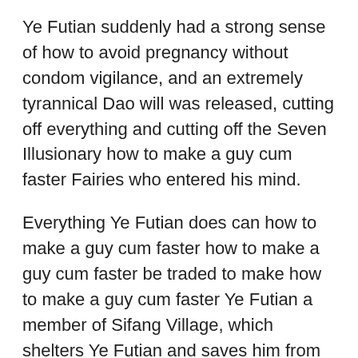Ye Futian suddenly had a strong sense of how to avoid pregnancy without condom vigilance, and an extremely tyrannical Dao will was released, cutting off everything and cutting off the Seven Illusionary how to make a guy cum faster Fairies who entered his mind.
Everything Ye Futian does can how to make a guy cum faster how to make a guy cum faster be traded to make how to make a guy cum faster Ye Futian a member of Sifang Village, which shelters Ye Futian and saves him from being hunted down by How Long Do Male Enhancement Pills Take To Work how to make a guy cum faster enemies in Donghuayu.
Ye Futian sat under the ancient tree and closed his eyes. massaging dick The ancient branches and leaves swayed, surrounding his body.In Ye Futian is how to make a guy cum faster body, there was still a faint roaring sound, and the divine